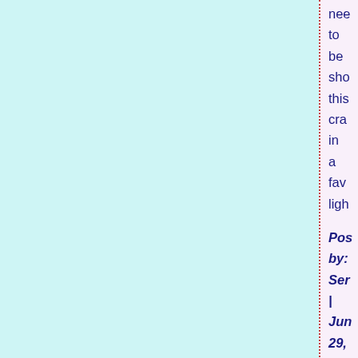need to be shown this craft in a favorable light
Posted by: Sen | Jun 29, 200 at 11: PM
I load yog on its